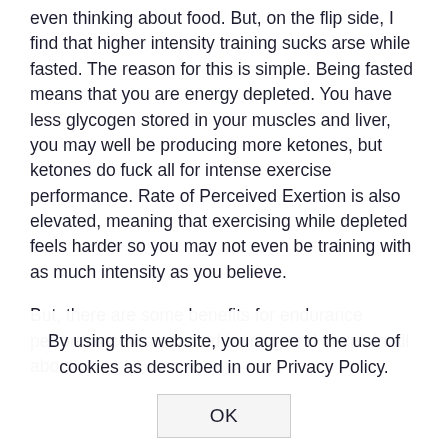even thinking about food. But, on the flip side, I find that higher intensity training sucks arse while fasted. The reason for this is simple. Being fasted means that you are energy depleted. You have less glycogen stored in your muscles and liver, you may well be producing more ketones, but ketones do fuck all for intense exercise performance. Rate of Perceived Exertion is also elevated, meaning that exercising while depleted feels harder so you may not even be training with as much intensity as you believe.
But, there are some benefits for endurance performance from fasted training and I explain all about
By using this website, you agree to the use of cookies as described in our Privacy Policy.
OK